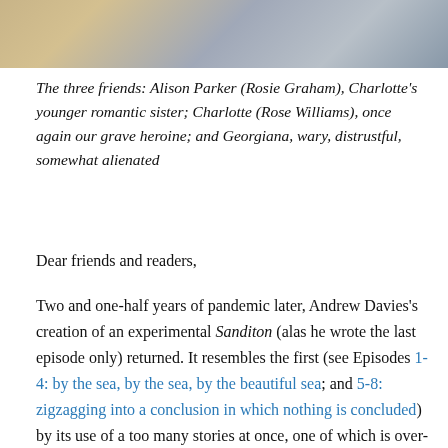[Figure (photo): Partial photo of three women in period costume, cropped at top of page showing clothing and background]
The three friends: Alison Parker (Rosie Graham), Charlotte's younger romantic sister; Charlotte (Rose Williams), once again our grave heroine; and Georgiana, wary, distrustful, somewhat alienated
Dear friends and readers,
Two and one-half years of pandemic later, Andrew Davies's creation of an experimental Sanditon (alas he wrote the last episode only) returned. It resembles the first (see Episodes 1-4: by the sea, by the sea, by the beautiful sea; and 5-8: zigzagging into a conclusion in which nothing is concluded) by its use of a too many stories at once, one of which is over-the-top melodrama: centered again in Edward Denham (Jack Fox), Clara Brereton (Lily